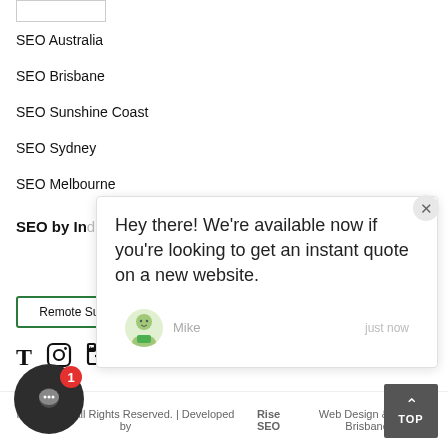[Figure (logo): Logo box outline top left]
SEO Australia
SEO Brisbane
SEO Sunshine Coast
SEO Sydney
SEO Melbourne
SEO by Industry
Hey there! We're available now if you're looking to get an instant quote on a new website.
Mike    just now
Remote Support
[Figure (other): Social media icons: Twitter/T, Instagram, LinkedIn]
[Figure (other): Chat widget bubble with badge count 1]
Rise SEO | All Rights Reserved. | Developed by Rise SEO Web Design & SEO Brisbane